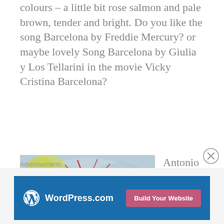colours – a little bit rose salmon and pale brown, tender and bright. Do you like the song Barcelona by Freddie Mercury? or maybe lovely Song Barcelona by Giulia y Los Tellarini in the movie Vicky Cristina Barcelona?
[Figure (illustration): Watercolor painting of a red and purple thistle flower with loose brushwork on a light blue-grey background with yellow accents]
Antonio Gaudí y Cornet, who has lived and devoted his whole life to his
Advertisements
[Figure (other): WordPress.com advertisement banner with blue background, WordPress logo on the left and 'Build Your Website' pink button on the right]